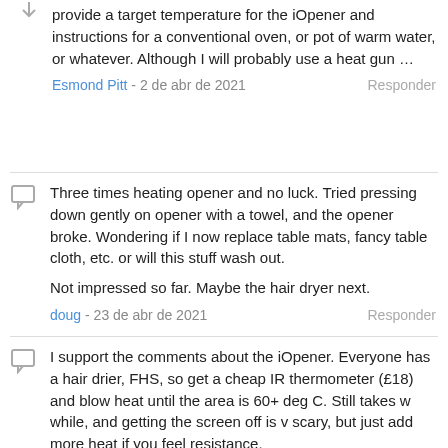provide a target temperature for the iOpener and instructions for a conventional oven, or pot of warm water, or whatever. Although I will probably use a heat gun …
Esmond Pitt - 2 de abr de 2021   Responder
Three times heating opener and no luck. Tried pressing down gently on opener with a towel, and the opener broke. Wondering if I now replace table mats, fancy table cloth, etc. or will this stuff wash out.

Not impressed so far. Maybe the hair dryer next.
doug - 23 de abr de 2021   Responder
I support the comments about the iOpener. Everyone has a hair drier, FHS, so get a cheap IR thermometer (£18) and blow heat until the area is 60+ deg C. Still takes w while, and getting the screen off is v scary, but just add more heat if you feel resistance.